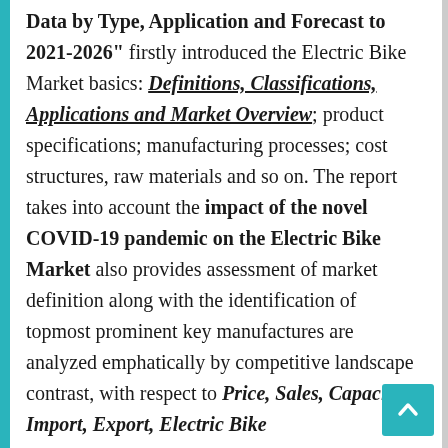Data by Type, Application and Forecast to 2021-2026" firstly introduced the Electric Bike Market basics: Definitions, Classifications, Applications and Market Overview; product specifications; manufacturing processes; cost structures, raw materials and so on. The report takes into account the impact of the novel COVID-19 pandemic on the Electric Bike Market also provides assessment of market definition along with the identification of topmost prominent key manufactures are analyzed emphatically by competitive landscape contrast, with respect to Price, Sales, Capacity, Import, Export, Electric Bike